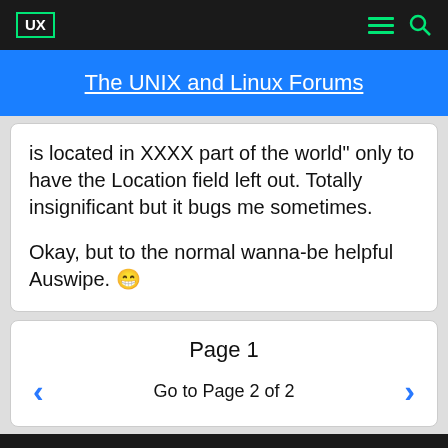The UNIX and Linux Forums
is located in XXXX part of the world" only to have the Location field left out. Totally insignificant but it bugs me sometimes.

Okay, but to the normal wanna-be helpful Auswipe. 😁
Page 1
Go to Page 2 of 2